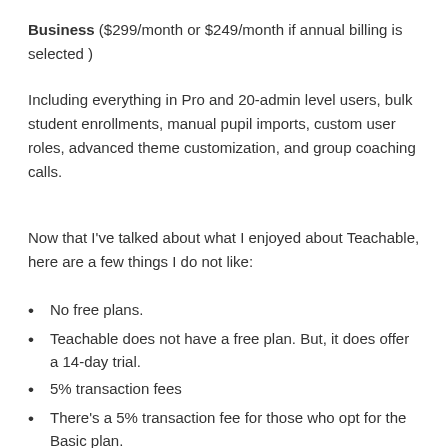Business ($299/month or $249/month if annual billing is selected )
Including everything in Pro and 20-admin level users, bulk student enrollments, manual pupil imports, custom user roles, advanced theme customization, and group coaching calls.
Now that I've talked about what I enjoyed about Teachable, here are a few things I do not like:
No free plans.
Teachable does not have a free plan. But, it does offer a 14-day trial.
5% transaction fees
There's a 5% transaction fee for those who opt for the Basic plan.
No phone service.
There's a phone...